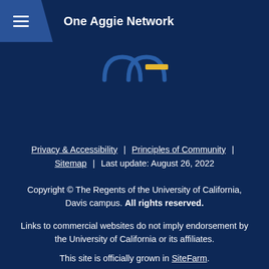One Aggie Network
[Figure (logo): UC Davis logo partial — two overlapping circle arcs in blue and a gold horizontal bar]
Privacy & Accessibility | Principles of Community | Sitemap | Last update: August 26, 2022
Copyright © The Regents of the University of California, Davis campus. All rights reserved.
Links to commercial websites do not imply endorsement by the University of California or its affiliates.
This site is officially grown in SiteFarm.